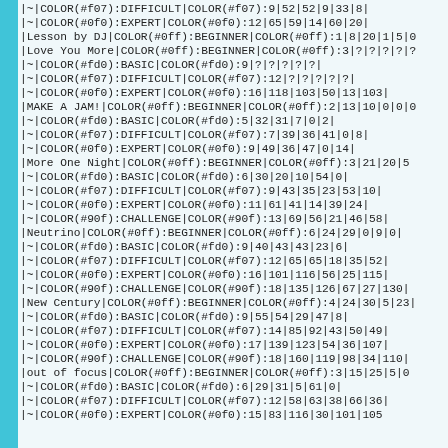|~|COLOR(#f07):DIFFICULT|COLOR(#f07):9|52|52|9|33|8|
|~|COLOR(#0f0):EXPERT|COLOR(#0f0):12|65|59|14|60|20|
|Lesson by DJ|COLOR(#0ff):BEGINNER|COLOR(#0ff):1|8|20|1|5|0
|Love You More|COLOR(#0ff):BEGINNER|COLOR(#0ff):3|?|?|?|?|?
|~|COLOR(#fd0):BASIC|COLOR(#fd0):9|?|?|?|?|?
|~|COLOR(#f07):DIFFICULT|COLOR(#f07):12|?|?|?|?|?
|~|COLOR(#0f0):EXPERT|COLOR(#0f0):16|118|103|50|13|103|
|MAKE A JAM!|COLOR(#0ff):BEGINNER|COLOR(#0ff):2|13|10|0|0|0
|~|COLOR(#fd0):BASIC|COLOR(#fd0):5|32|31|7|0|2|
|~|COLOR(#f07):DIFFICULT|COLOR(#f07):7|39|36|41|0|8|
|~|COLOR(#0f0):EXPERT|COLOR(#0f0):9|49|36|47|0|14|
|More One Night|COLOR(#0ff):BEGINNER|COLOR(#0ff):3|21|20|5
|~|COLOR(#fd0):BASIC|COLOR(#fd0):6|30|20|10|54|0|
|~|COLOR(#f07):DIFFICULT|COLOR(#f07):9|43|35|23|53|10|
|~|COLOR(#0f0):EXPERT|COLOR(#0f0):11|61|41|14|39|24|
|~|COLOR(#90f):CHALLENGE|COLOR(#90f):13|69|56|21|46|58|
|Neutrino|COLOR(#0ff):BEGINNER|COLOR(#0ff):6|24|29|0|9|0|
|~|COLOR(#fd0):BASIC|COLOR(#fd0):9|40|43|43|23|6|
|~|COLOR(#f07):DIFFICULT|COLOR(#f07):12|65|65|18|35|52|
|~|COLOR(#0f0):EXPERT|COLOR(#0f0):16|101|116|56|25|115|
|~|COLOR(#90f):CHALLENGE|COLOR(#90f):18|135|126|67|27|130|
|New Century|COLOR(#0ff):BEGINNER|COLOR(#0ff):4|24|30|5|23|
|~|COLOR(#fd0):BASIC|COLOR(#fd0):9|55|54|29|47|8|
|~|COLOR(#f07):DIFFICULT|COLOR(#f07):14|85|92|43|50|49|
|~|COLOR(#0f0):EXPERT|COLOR(#0f0):17|139|123|54|36|107|
|~|COLOR(#90f):CHALLENGE|COLOR(#90f):18|160|119|98|34|110|
|out of focus|COLOR(#0ff):BEGINNER|COLOR(#0ff):3|15|25|5|0
|~|COLOR(#fd0):BASIC|COLOR(#fd0):6|29|31|5|61|0|
|~|COLOR(#f07):DIFFICULT|COLOR(#f07):12|58|63|38|66|36|
|~|COLOR(#0f0):EXPERT|COLOR(#0f0):15|83|116|30|101|105